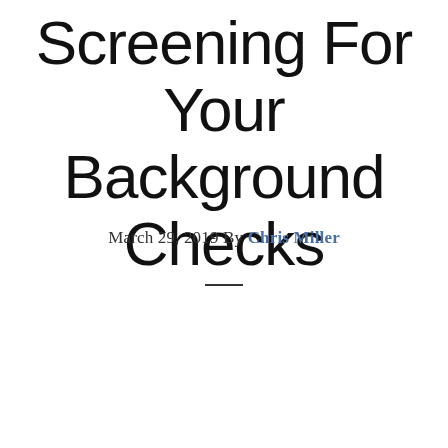Screening For Your Background Checks
March 29, 2019 By Chris Miller